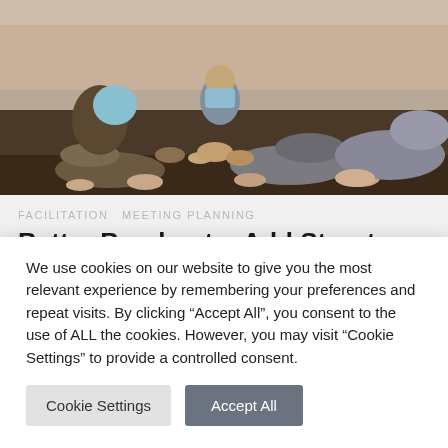[Figure (photo): Group of people sitting cross-legged on a floor mat in a circle, viewed from above/side angle, appearing to be in a facilitated group discussion or breakout session]
FACILITATION  MEETING PLANNING
Better Breakouts: Add Structure and Purpose to your Breakout Groups to
We use cookies on our website to give you the most relevant experience by remembering your preferences and repeat visits. By clicking "Accept All", you consent to the use of ALL the cookies. However, you may visit "Cookie Settings" to provide a controlled consent.
Cookie Settings  Accept All